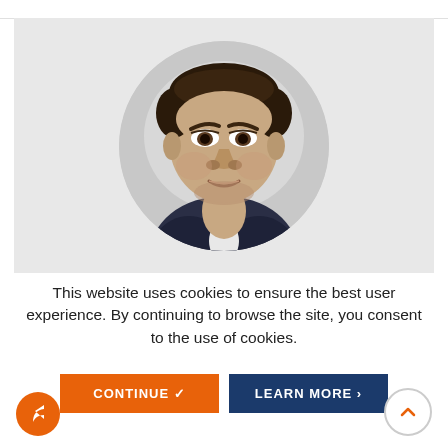[Figure (photo): Circular cropped headshot photo of a middle-aged man in a dark suit, smiling slightly, on a light grey background.]
This website uses cookies to ensure the best user experience. By continuing to browse the site, you consent to the use of cookies.
[Figure (other): Two buttons side by side: an orange CONTINUE button with a checkmark, and a dark navy LEARN MORE button with a right arrow.]
[Figure (other): Orange circular share/forward button at bottom left with a right-pointing reply arrow icon.]
[Figure (other): White circular back-to-top button at bottom right with an upward caret arrow.]